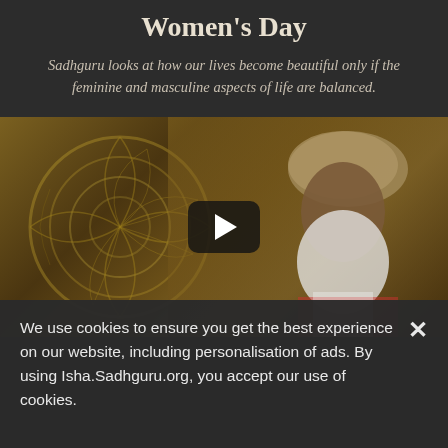Women's Day
Sadhguru looks at how our lives become beautiful only if the feminine and masculine aspects of life are balanced.
[Figure (photo): A video thumbnail showing Sadhguru (a spiritual teacher with turban and long white beard) with a decorative mandala in the background. A play button overlay is visible in the center.]
We use cookies to ensure you get the best experience on our website, including personalisation of ads. By using Isha.Sadhguru.org, you accept our use of cookies.